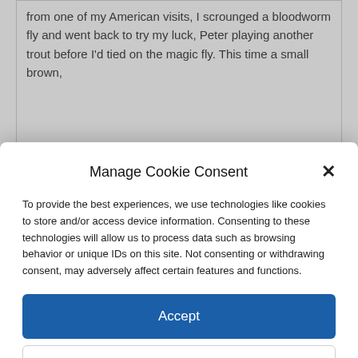from one of my American visits, I scrounged a bloodworm fly and went back to try my luck, Peter playing another trout before I'd tied on the magic fly. This time a small brown,
Manage Cookie Consent
To provide the best experiences, we use technologies like cookies to store and/or access device information. Consenting to these technologies will allow us to process data such as browsing behavior or unique IDs on this site. Not consenting or withdrawing consent, may adversely affect certain features and functions.
Accept
Deny
View preferences
Cookie Policy